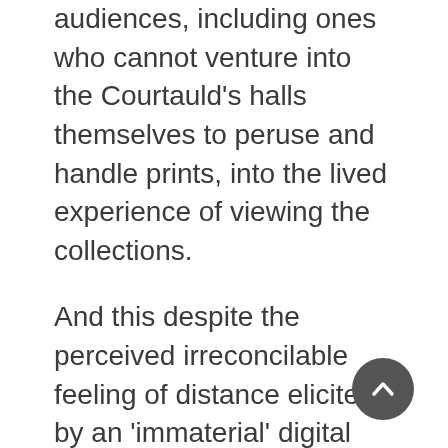audiences, including ones who cannot venture into the Courtauld's halls themselves to peruse and handle prints, into the lived experience of viewing the collections.
And this despite the perceived irreconcilable feeling of distance elicited by an 'immaterial' digital format. Such a conscious construction of materiality through digitization would not be possible without considering the relative distance and familiarity future viewers may have with the collections held by the Courtauld Institute, the connections of and